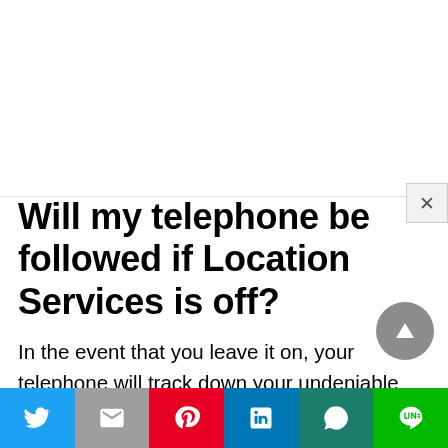Will my telephone be followed if Location Services is off?
In the event that you leave it on, your telephone will track down your undeniable circumstance through GPS, wifi, versatile affiliations, and other gadget sensors. Turn it off, and your contraption will essentially utilize GPS to sort out where you are. District History is the part that screens where you've been, and any watches out for you type in